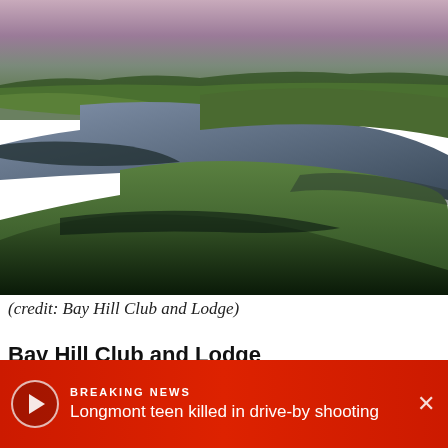[Figure (photo): Aerial/ground-level view of a golf course at dusk showing undulating green fairways, sand bunkers with deep shadows, and a soft pink-purple sky on the horizon. Bay Hill Club and Lodge golf course.]
(credit: Bay Hill Club and Lodge)
Bay Hill Club and Lodge
9000 Bay Hill Blvd.
Orlando, FL 32819
(888) 422-9445
www.bayhill.com
BREAKING NEWS
Longmont teen killed in drive-by shooting